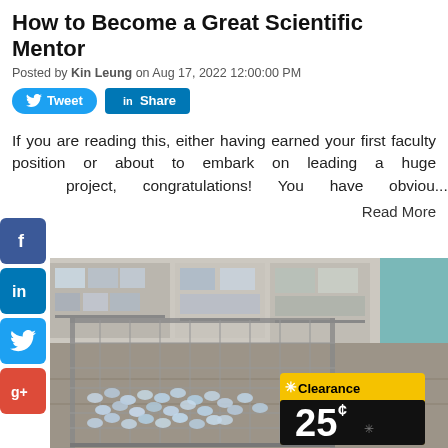How to Become a Great Scientific Mentor
Posted by Kin Leung on Aug 17, 2022 12:00:00 PM
[Figure (other): Tweet and Share social media buttons (Twitter and LinkedIn)]
If you are reading this, either having earned your first faculty position or about to embark on leading a huge project, congratulations! You have obviou...
Read More
[Figure (photo): Walmart store interior showing a large wire clearance bin filled with small plastic water bottles, with a yellow Clearance sign showing 25 cents price]
[Figure (other): Left sidebar with Facebook, LinkedIn, Twitter, and Google+ social sharing icons]